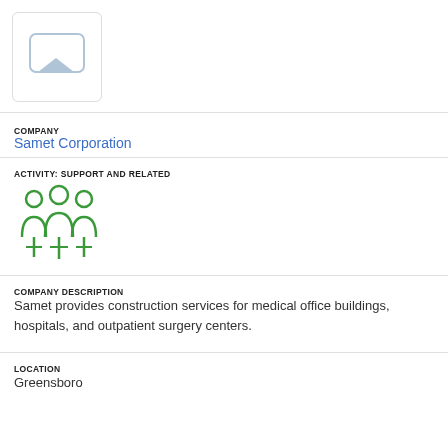[Figure (logo): Company logo placeholder with a gray chat/speech bubble shape inside a white rounded rectangle box]
COMPANY
Samet Corporation
ACTIVITY: SUPPORT AND RELATED
[Figure (illustration): Green outline icon of three people/silhouettes standing together]
COMPANY DESCRIPTION
Samet provides construction services for medical office buildings, hospitals, and outpatient surgery centers.
LOCATION
Greensboro